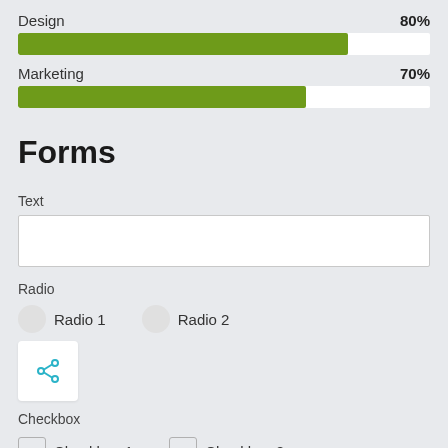[Figure (bar-chart): Design 80%]
[Figure (bar-chart): Marketing 70%]
Forms
Text
[Figure (other): Empty text input field]
Radio
Radio 1
Radio 2
[Figure (other): Share button with share icon]
Checkbox
Checkbox 1
Checkbox 2